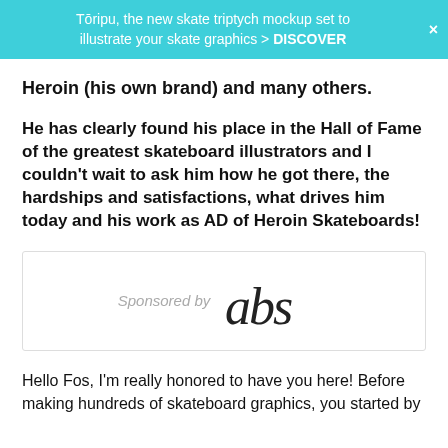Tōripu, the new skate triptych mockup set to illustrate your skate graphics > DISCOVER
Heroin (his own brand) and many others.
He has clearly found his place in the Hall of Fame of the greatest skateboard illustrators and I couldn't wait to ask him how he got there, the hardships and satisfactions, what drives him today and his work as AD of Heroin Skateboards!
[Figure (other): Sponsored by abs logo advertisement box]
Hello Fos, I'm really honored to have you here! Before making hundreds of skateboard graphics, you started by